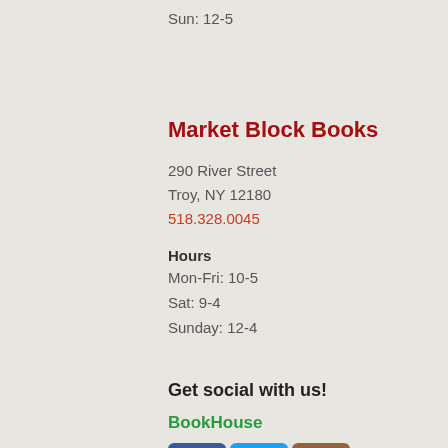Sun: 12-5
Market Block Books
290 River Street
Troy, NY 12180
518.328.0045
Hours
Mon-Fri: 10-5
Sat: 9-4
Sunday: 12-4
Get social with us!
BookHouse
[Figure (logo): Facebook, Twitter, and Instagram social media icons]